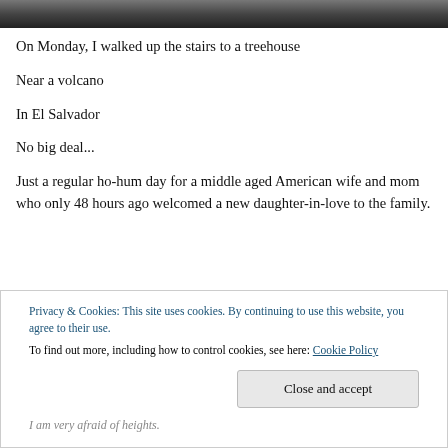[Figure (photo): Cropped top photo strip, dark landscape/outdoor scene]
On Monday, I walked up the stairs to a treehouse
Near a volcano
In El Salvador
No big deal...
Just a regular ho-hum day for a middle aged American wife and mom who only 48 hours ago welcomed a new daughter-in-love to the family.
Privacy & Cookies: This site uses cookies. By continuing to use this website, you agree to their use.
To find out more, including how to control cookies, see here: Cookie Policy
I am very afraid of heights.